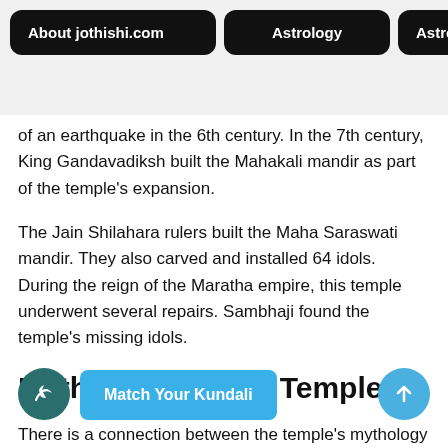About jothishi.com | Astrology | Astro
of an earthquake in the 6th century. In the 7th century, King Gandavadiksh built the Mahakali mandir as part of the temple's expansion.
The Jain Shilahara rulers built the Maha Saraswati mandir. They also carved and installed 64 idols. During the reign of the Maratha empire, this temple underwent several repairs. Sambhaji found the temple's missing idols.
Mythology Of The Temple
There is a connection between the temple's mythology and the history of Kolhapur and its etymology. According to popular belief, the three forms of Shakti- Mahak... Maha Saraswati are present in Kolhapur as this is the most divine and